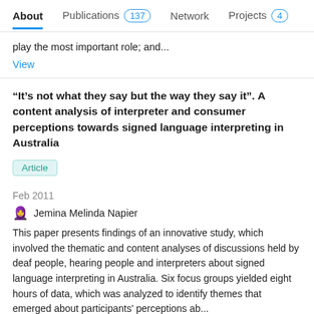About  Publications 137  Network  Projects 4
play the most important role; and...
View
“It’s not what they say but the way they say it”. A content analysis of interpreter and consumer perceptions towards signed language interpreting in Australia
Article
Feb 2011
Jemina Melinda Napier
This paper presents findings of an innovative study, which involved the thematic and content analyses of discussions held by deaf people, hearing people and interpreters about signed language interpreting in Australia. Six focus groups yielded eight hours of data, which was analyzed to identify themes that emerged about participants' perceptions ab...
View